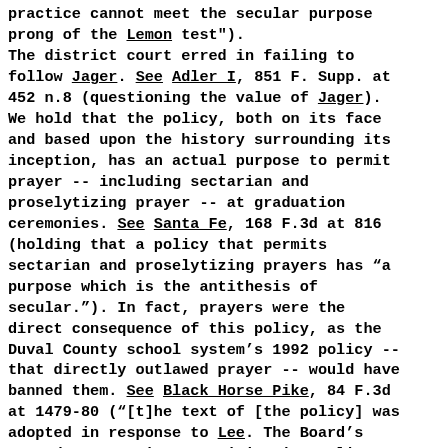practice cannot meet the secular purpose prong of the Lemon test"). The district court erred in failing to follow Jager. See Adler I, 851 F. Supp. at 452 n.8 (questioning the value of Jager). We hold that the policy, both on its face and based upon the history surrounding its inception, has an actual purpose to permit prayer -- including sectarian and proselytizing prayer -- at graduation ceremonies. See Santa Fe, 168 F.3d at 816 (holding that a policy that permits sectarian and proselytizing prayers has “a purpose which is the antithesis of secular.”). In fact, prayers were the direct consequence of this policy, as the Duval County school system’s 1992 policy -- that directly outlawed prayer -- would have banned them. See Black Horse Pike, 84 F.3d at 1479-80 (“[t]he text of [the policy] was adopted in response to Lee. The Board’s avowed purpose in reexamining its policy was to provide an option that might allow the ‘longstanding tradition’ of graduation prayer to survive the prohibitions of that Supreme Court decision.”). Thus, the policy